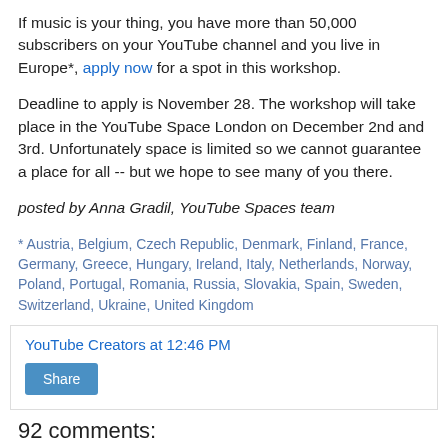If music is your thing, you have more than 50,000 subscribers on your YouTube channel and you live in Europe*, apply now for a spot in this workshop.
Deadline to apply is November 28. The workshop will take place in the YouTube Space London on December 2nd and 3rd. Unfortunately space is limited so we cannot guarantee a place for all -- but we hope to see many of you there.
posted by Anna Gradil, YouTube Spaces team
* Austria, Belgium, Czech Republic, Denmark, Finland, France, Germany, Greece, Hungary, Ireland, Italy, Netherlands, Norway, Poland, Portugal, Romania, Russia, Slovakia, Spain, Sweden, Switzerland, Ukraine, United Kingdom
YouTube Creators at 12:46 PM
Share
92 comments: